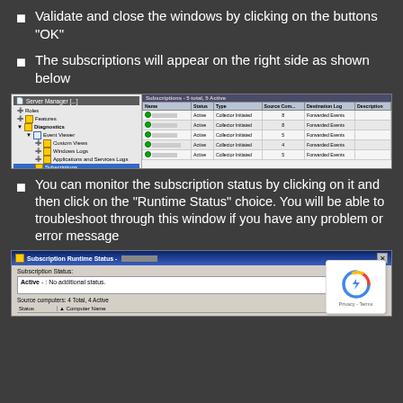Validate and close the windows by clicking on the buttons "OK"
The subscriptions will appear on the right side as shown below
[Figure (screenshot): Server Manager window showing Event Viewer Subscriptions panel with 5 subscriptions listed as Active, Collector Initiated, with Forwarded Events destination log]
You can monitor the subscription status by clicking on it and then click on the "Runtime Status" choice. You will be able to troubleshoot through this window if you have any problem or error message
[Figure (screenshot): Subscription Runtime Status dialog showing Active status with No additional status, Source computers: 4 Total, 4 Active, with Status and Computer Name columns visible]